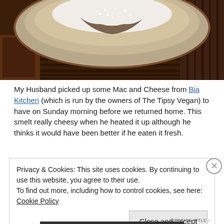[Figure (photo): Overhead photo of a ceramic bowl with powdered sugar on a wooden surface with dark patterned fabric]
My Husband picked up some Mac and Cheese from Bia Kitchen (which is run by the owners of The Tipsy Vegan) to have on Sunday morning before we returned home. This smelt really cheesy when he heated it up although he thinks it would have been better if he eaten it fresh.
Privacy & Cookies: This site uses cookies. By continuing to use this website, you agree to their use.
To find out more, including how to control cookies, see here: Cookie Policy
[Close and accept]